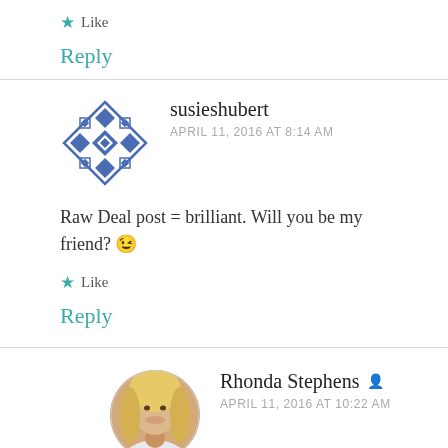★ Like
Reply
susieshubert
APRIL 11, 2016 AT 8:14 AM
Raw Deal post = brilliant. Will you be my friend? 😉
★ Like
Reply
Rhonda Stephens
APRIL 11, 2016 AT 10:22 AM